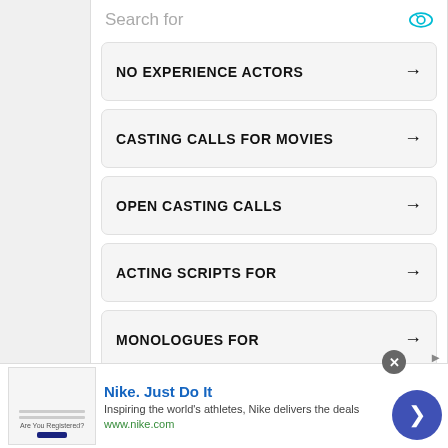NO EXPERIENCE ACTORS →
CASTING CALLS FOR MOVIES →
OPEN CASTING CALLS →
ACTING SCRIPTS FOR →
MONOLOGUES FOR →
Ad | Glocal Search
Nike. Just Do It — Inspiring the world's athletes, Nike delivers the deals www.nike.com